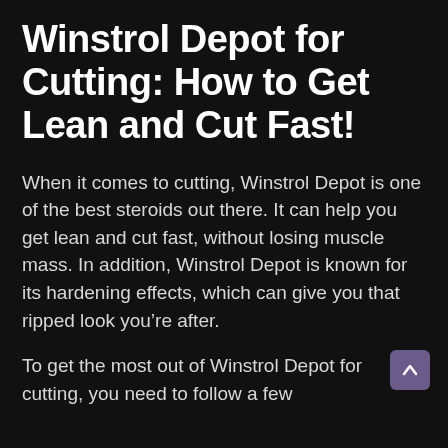Winstrol Depot for Cutting: How to Get Lean and Cut Fast!
When it comes to cutting, Winstrol Depot is one of the best steroids out there. It can help you get lean and cut fast, without losing muscle mass. In addition, Winstrol Depot is known for its hardening effects, which can give you that ripped look you’re after.
To get the most out of Winstrol Depot for cutting, you need to follow a few